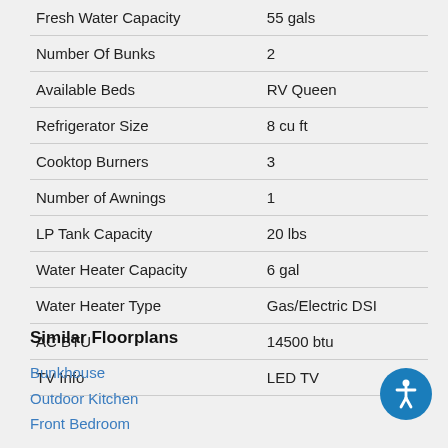| Attribute | Value |
| --- | --- |
| Fresh Water Capacity | 55 gals |
| Number Of Bunks | 2 |
| Available Beds | RV Queen |
| Refrigerator Size | 8 cu ft |
| Cooktop Burners | 3 |
| Number of Awnings | 1 |
| LP Tank Capacity | 20 lbs |
| Water Heater Capacity | 6 gal |
| Water Heater Type | Gas/Electric DSI |
| AC BTU | 14500 btu |
| TV Info | LED TV |
Similar Floorplans
Bunkhouse
Outdoor Kitchen
Front Bedroom